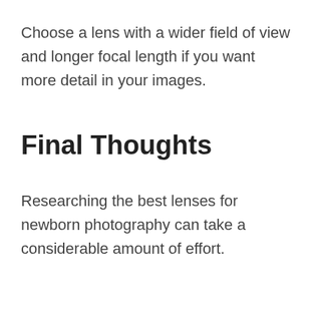Choose a lens with a wider field of view and longer focal length if you want more detail in your images.
Final Thoughts
Researching the best lenses for newborn photography can take a considerable amount of effort.
[Figure (other): Video player overlay showing error message 'No compatible source was found for this media.' with watermark text 'The Best Sony Lenses For Product Photography' and a large X close button.]